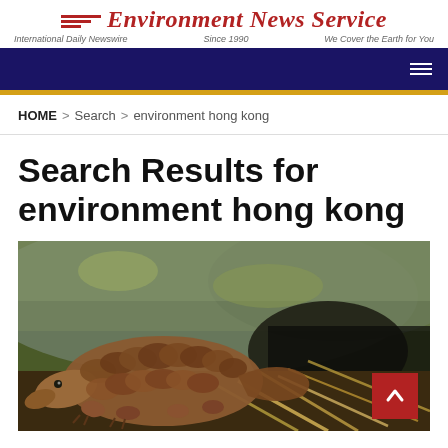Environment News Service — International Daily Newswire | Since 1990 | We Cover the Earth for You
HOME > Search > environment hong kong
Search Results for environment hong kong
[Figure (photo): A pangolin photographed in a natural habitat among rocks and dried vegetation at night]